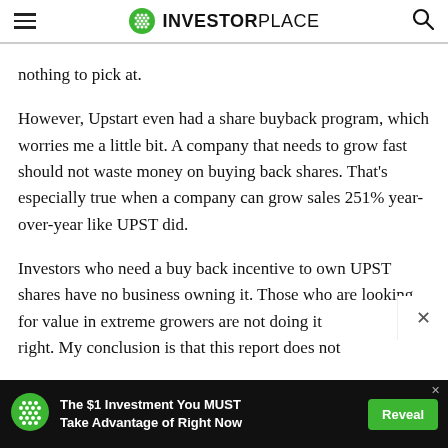INVESTORPLACE
nothing to pick at.
However, Upstart even had a share buyback program, which worries me a little bit. A company that needs to grow fast should not waste money on buying back shares. That’s especially true when a company can grow sales 251% year-over-year like UPST did.
Investors who need a buy back incentive to own UPST shares have no business owning it. Those who are looking for value in extreme growers are not doing it right. My conclusion is that this report does not
[Figure (screenshot): Advertisement banner: green circle logo, white text 'The $1 Investment You MUST Take Advantage of Right Now', green 'Reveal' button]